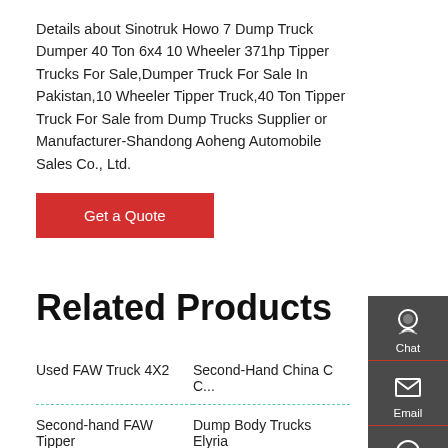Details about Sinotruk Howo 7 Dump Truck Dumper 40 Ton 6x4 10 Wheeler 371hp Tipper Trucks For Sale,Dumper Truck For Sale In Pakistan,10 Wheeler Tipper Truck,40 Ton Tipper Truck For Sale from Dump Trucks Supplier or Manufacturer-Shandong Aoheng Automobile Sales Co., Ltd.
Get a Quote
Related Products
Used FAW Truck 4X2
Second-Hand China C C...
Second-hand FAW Tipper
Dump Body Trucks Elyria
File KOMATSU 830E 1AC
Sinotruck Used HOWO